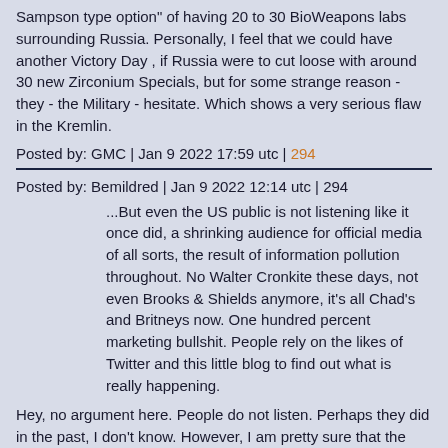Sampson type option" of having 20 to 30 BioWeapons labs surrounding Russia. Personally, I feel that we could have another Victory Day , if Russia were to cut loose with around 30 new Zirconium Specials, but for some strange reason - they - the Military - hesitate. Which shows a very serious flaw in the Kremlin.
Posted by: GMC | Jan 9 2022 17:59 utc | 294
Posted by: Bemildred | Jan 9 2022 12:14 utc | 294
...But even the US public is not listening like it once did, a shrinking audience for official media of all sorts, the result of information pollution throughout. No Walter Cronkite these days, not even Brooks & Shields anymore, it's all Chad's and Britneys now. One hundred percent marketing bullshit. People rely on the likes of Twitter and this little blog to find out what is really happening.
Hey, no argument here. People do not listen. Perhaps they did in the past, I don't know. However, I am pretty sure that the Karl Roves of today like it that way. Masses of vain, incurious, self absorbed zombies apathetic to worldly events.
Not listening but hearing. That's the key.